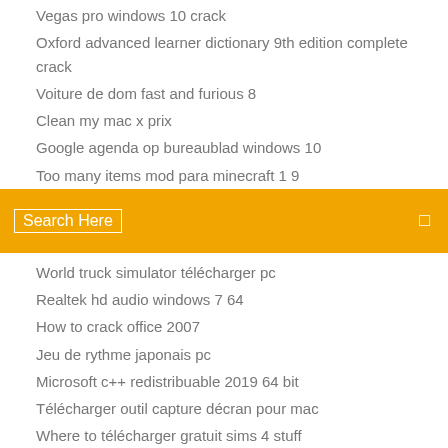Vegas pro windows 10 crack
Oxford advanced learner dictionary 9th edition complete crack
Voiture de dom fast and furious 8
Clean my mac x prix
Google agenda op bureaublad windows 10
Too many items mod para minecraft 1 9
[Figure (screenshot): Orange search bar with 'Search Here' text and search icon on right]
World truck simulator télécharger pc
Realtek hd audio windows 7 64
How to crack office 2007
Jeu de rythme japonais pc
Microsoft c++ redistribuable 2019 64 bit
Télécharger outil capture décran pour mac
Where to télécharger gratuit sims 4 stuff
Télécharger microsoft office 2019 crack 32 bit
♥♥ adicionar leicinia basilica sinceria linear d...